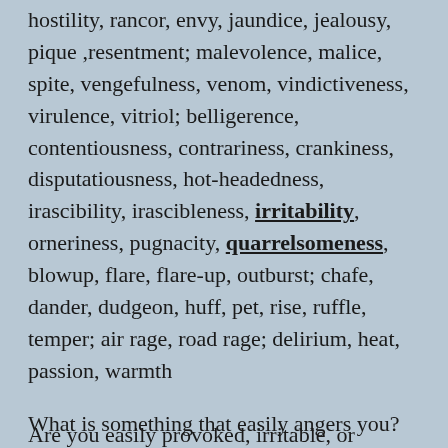hostility, rancor, envy, jaundice, jealousy, pique ,resentment; malevolence, malice, spite, vengefulness, venom, vindictiveness, virulence, vitriol; belligerence, contentiousness, contrariness, crankiness, disputatiousness, hot-headedness, irascibility, irascibleness, irritability, orneriness, pugnacity, quarrelsomeness, blowup, flare, flare-up, outburst; chafe, dander, dudgeon, huff, pet, rise, ruffle, temper; air rage, road rage; delirium, heat, passion, warmth
Are you easily provoked, irritable, or angered?
What is something that easily angers you?